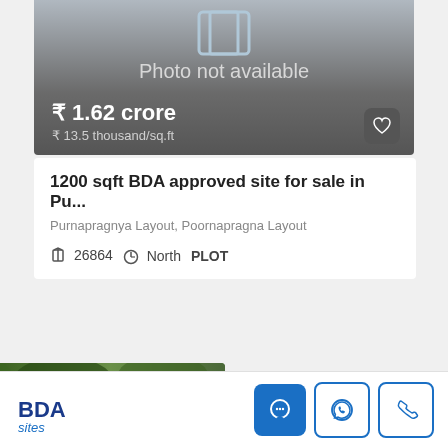[Figure (screenshot): Property listing card with 'Photo not available' placeholder image showing gradient background with price ₹ 1.62 crore]
₹ 1.62 crore
₹ 13.5 thousand/sq.ft
1200 sqft BDA approved site for sale in Pu...
Purnapragnya Layout, Poornapragna Layout
26864  North  PLOT
[Figure (photo): Second property listing with trees/greenery photo, badges: FOR SALE, BDA APPROVED]
BDA sites — chat, WhatsApp, call buttons